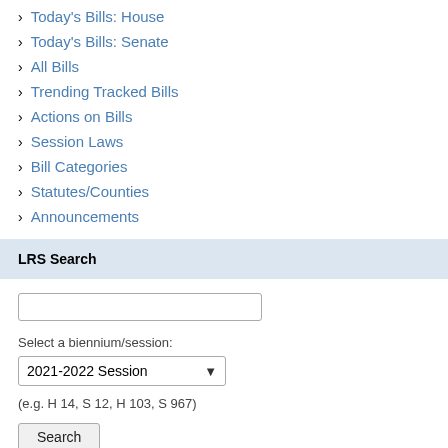Today's Bills: House
Today's Bills: Senate
All Bills
Trending Tracked Bills
Actions on Bills
Session Laws
Bill Categories
Statutes/Counties
Announcements
LRS Search
Select a biennium/session:
2021-2022 Session
(e.g. H 14, S 12, H 103, S 967)
Search